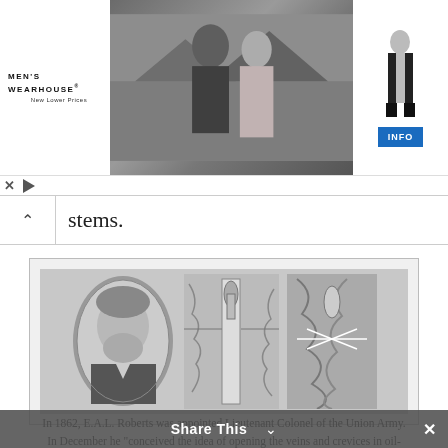[Figure (photo): Men's Wearhouse advertisement banner showing a couple in formal wear and a man in a tuxedo with an INFO button]
stems.
[Figure (photo): Historical photograph of E.A.L. Roberts (oval portrait of bearded man) alongside technical diagrams of oil well torpedo/shooting device showing cross-sections]
In 1862, E.A.L. Roberts was appointed Lieutenant Colonel of the Union Army. In December he “conceived the idea of opening the veins and crevices in oil-bearing